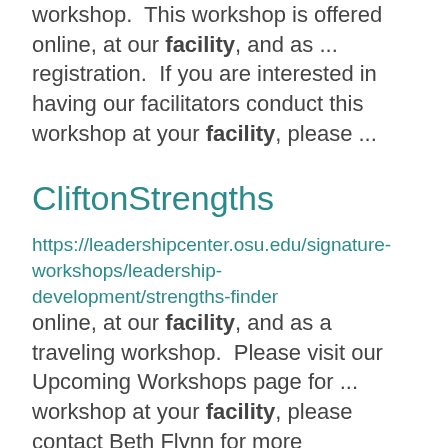workshop.  This workshop is offered online, at our facility, and as ... registration.  If you are interested in having our facilitators conduct this workshop at your facility, please ...
CliftonStrengths
https://leadershipcenter.osu.edu/signature-workshops/leadership-development/strengths-finder
online, at our facility, and as a traveling workshop.  Please visit our Upcoming Workshops page for ... workshop at your facility, please contact Beth Flynn for more information. ...